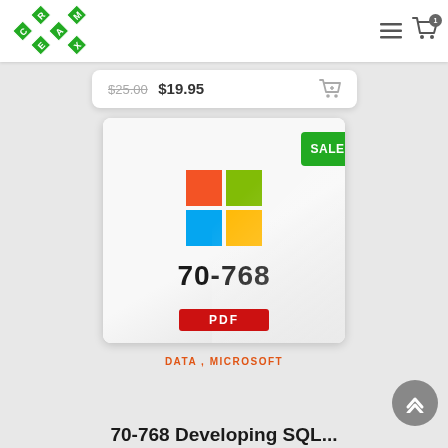[Figure (logo): CramExam diamond-pattern green logo in page header]
[Figure (other): Navigation hamburger menu icon and shopping cart icon with badge count 1]
$25.00 $19.95
[Figure (other): Product card showing Microsoft logo (four colored squares: red, green, blue, yellow), exam number 70-768, diagonal shine effect, PDF red banner, and green SALE! badge]
DATA , MICROSOFT
70-768 Developing SQL...